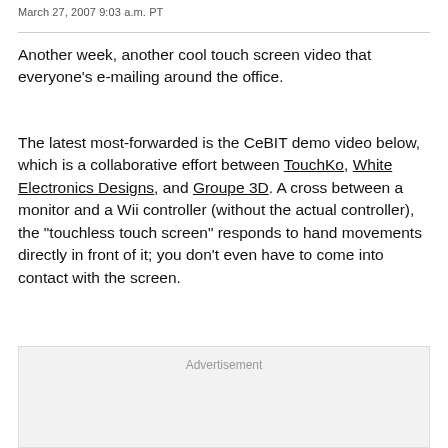March 27, 2007 9:03 a.m. PT
Another week, another cool touch screen video that everyone's e-mailing around the office.
The latest most-forwarded is the CeBIT demo video below, which is a collaborative effort between TouchKo, White Electronics Designs, and Groupe 3D. A cross between a monitor and a Wii controller (without the actual controller), the "touchless touch screen" responds to hand movements directly in front of it; you don't even have to come into contact with the screen.
[Figure (other): Advertisement placeholder box]